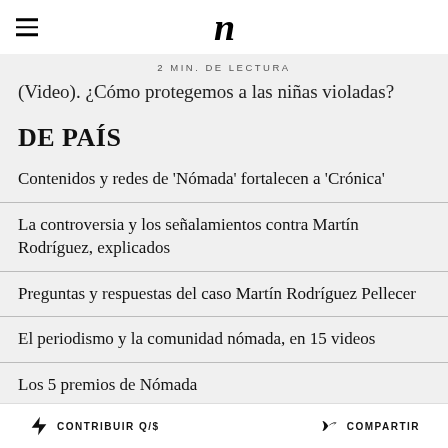n
2 MIN. DE LECTURA
(Video). ¿Cómo protegemos a las niñas violadas?
DE PAÍS
Contenidos y redes de 'Nómada' fortalecen a 'Crónica'
La controversia y los señalamientos contra Martín Rodríguez, explicados
Preguntas y respuestas del caso Martín Rodríguez Pellecer
El periodismo y la comunidad nómada, en 15 videos
Los 5 premios de Nómada
Y LO MÁS LEÍDO DE LA SEMANA
CONTRIBUIR Q/$ COMPARTIR